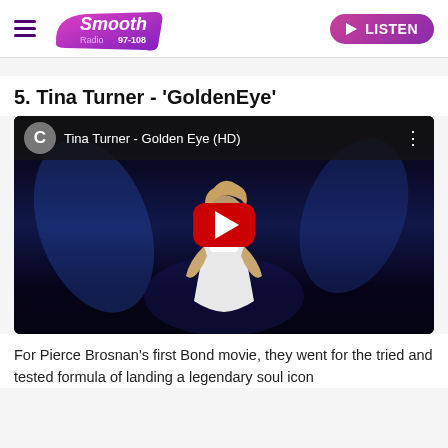Smooth Radio 97-108 | LISTEN
5. Tina Turner - 'GoldenEye'
[Figure (screenshot): YouTube video embed showing Tina Turner - Golden Eye (HD) with a play button overlay. The video thumbnail shows Tina Turner in a white outfit against a dark blue backdrop.]
For Pierce Brosnan's first Bond movie, they went for the tried and tested formula of landing a legendary soul icon